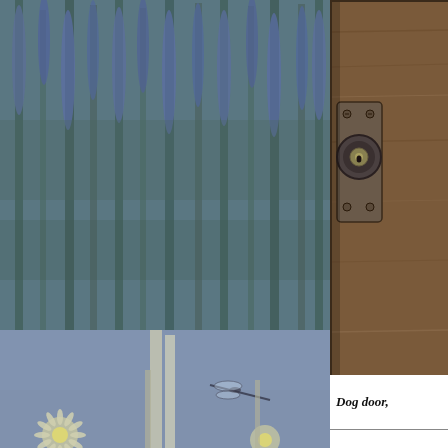[Figure (photo): Dense garden of tall blue-purple flowering plants (echium/viper's bugloss) with green foliage, viewed close up, slightly hazy blue-green toned photograph]
[Figure (photo): Close-up of a wooden door with a cylindrical deadbolt lock mechanism, dark brown wood grain texture, with metal lock hardware]
[Figure (photo): Low-angle view of tall spiky plants and daisy-like flowers against a blue sky, with a dragonfly visible in the background]
Dog door,